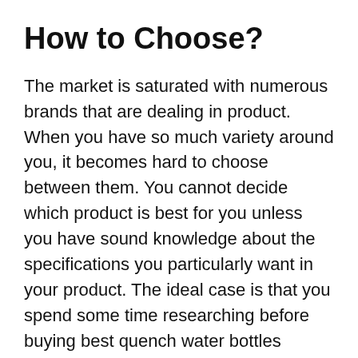How to Choose?
The market is saturated with numerous brands that are dealing in product. When you have so much variety around you, it becomes hard to choose between them. You cannot decide which product is best for you unless you have sound knowledge about the specifications you particularly want in your product. The ideal case is that you spend some time researching before buying best quench water bottles stainless steel so that you don’t end up regretting your purchase. But this will consume lot of your time and effort.
Relax! We have made this task little stress-